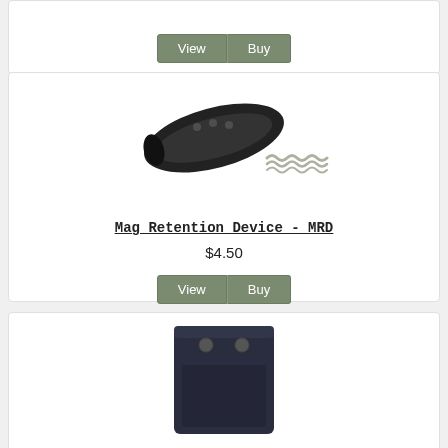[Figure (photo): Top card showing View and Buy buttons for a previous product (partially visible at top)]
[Figure (photo): Black oval Mag Retention Device (MRD) component with small spring shown next to it]
Mag Retention Device - MRD
$4.50
[Figure (photo): Dark navy blue rectangular clip/holster accessory with two holes, partially visible at bottom of page]